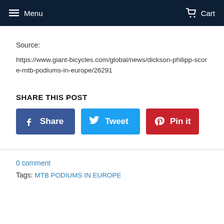Menu  Cart
Source:
https://www.giant-bicycles.com/global/news/dickson-philipp-score-mtb-podiums-in-europe/26291
SHARE THIS POST
Share  Tweet  Pin it
0 comment
Tags: MTB PODIUMS IN EUROPE